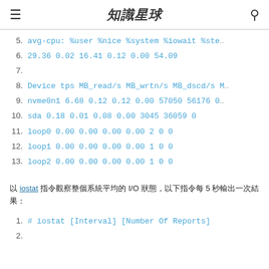知識星球
5.  avg-cpu: %user %nice %system %iowait %ste…
6.  29.36 0.02 16.41 0.12 0.00 54.09
7.
8.  Device tps MB_read/s MB_wrtn/s MB_dscd/s M…
9.  nvme0n1 6.68 0.12 0.12 0.00 57050 56176 0
10. sda 0.18 0.01 0.08 0.00 3045 36059 0
11. loop0 0.00 0.00 0.00 0.00 2 0 0
12. loop1 0.00 0.00 0.00 0.00 1 0 0
13. loop2 0.00 0.00 0.00 0.00 1 0 0
以 iostat 指令觀察整個系統平均的 I/O 狀態，以下指令每 5 秒輸出一次結果：
1.  # iostat [Interval] [Number Of Reports]
2.